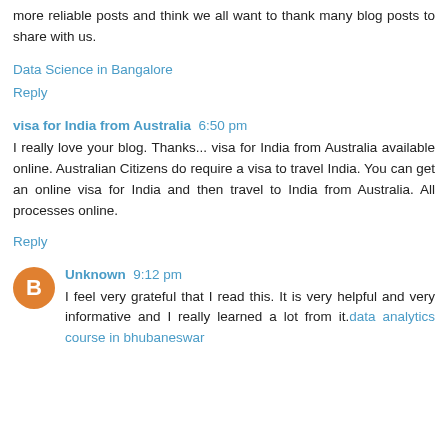more reliable posts and think we all want to thank many blog posts to share with us.
Data Science in Bangalore
Reply
visa for India from Australia  6:50 pm
I really love your blog. Thanks... visa for India from Australia available online. Australian Citizens do require a visa to travel India. You can get an online visa for India and then travel to India from Australia. All processes online.
Reply
Unknown  9:12 pm
I feel very grateful that I read this. It is very helpful and very informative and I really learned a lot from it.data analytics course in bhubaneswar